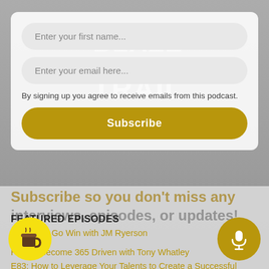[Figure (screenshot): Blaze Your Own Trail Podcast website screenshot showing email subscription form overlay on top of podcast banner with host Jordan Mendoza. Below shows featured episodes section.]
Enter your first name...
Enter your email here...
By signing up you agree to receive emails from this podcast.
Subscribe
Subscribe so you don't miss any interviews, episodes, or updates!
FEATURED EPISODES
E87: Let's Go Win with JM Ryerson
How to Become 365 Driven with Tony Whatley
E83: How to Leverage Your Talents to Create a Successful